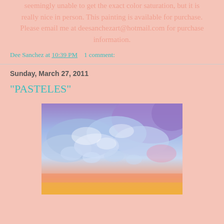seemingly unable to get the exact color saturation, but it is really nice in person. This painting is available for purchase. Please email me at deesanchezart@hotmail.com for purchase information.
Dee Sanchez at 10:39 PM    1 comment:
Sunday, March 27, 2011
"PASTELES"
[Figure (photo): A colorful abstract painting showing swirling pastel clouds or waves with purple, blue, pink, and warm orange/yellow tones — textured brushwork.]